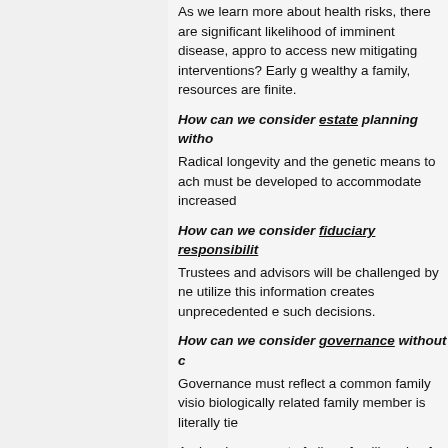As we learn more about health risks, there are significant likelihood of imminent disease, appro to access new mitigating interventions? Early g wealthy a family, resources are finite.
How can we consider estate planning witho Radical longevity and the genetic means to ach must be developed to accommodate increased
How can we consider fiduciary responsibilit Trustees and advisors will be challenged by ne utilize this information creates unprecedented e such decisions.
How can we consider governance without c Governance must reflect a common family visio biologically related family member is literally tie
And perhaps, most of all, as families plan for the
How can we consider next-gen without cons ?Next-gen have access to rapidly evolving radio relationships with parents who may be physical wish to continue their tenure within the family e create genetically enhanced new children, perh